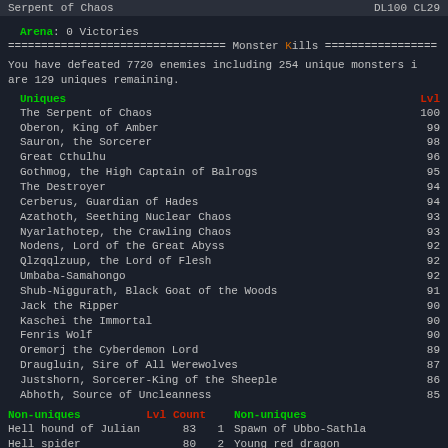Serpent of Chaos    DL100 CL29...
Arena:  0 Victories
================================= Monster Kills =================
You have defeated 7720 enemies including 254 unique monsters in... are 129 uniques remaining.
| Uniques | Lvl |
| --- | --- |
| The Serpent of Chaos | 100 |
| Oberon, King of Amber | 99 |
| Sauron, the Sorcerer | 98 |
| Great Cthulhu | 96 |
| Gothmog, the High Captain of Balrogs | 95 |
| The Destroyer | 94 |
| Cerberus, Guardian of Hades | 94 |
| Azathoth, Seething Nuclear Chaos | 93 |
| Nyarlathotep, the Crawling Chaos | 93 |
| Nodens, Lord of the Great Abyss | 92 |
| Qlzqqlzuup, the Lord of Flesh | 92 |
| Umbaba-Samahongo | 92 |
| Shub-Niggurath, Black Goat of the Woods | 91 |
| Jack the Ripper | 90 |
| Kaschei the Immortal | 90 |
| Fenris Wolf | 90 |
| Oremorj the Cyberdemon Lord | 89 |
| Draugluin, Sire of All Werewolves | 87 |
| Justshorn, Sorcerer-King of the Sheeple | 86 |
| Abhoth, Source of Uncleanness | 85 |
| Non-uniques | Lvl | Count |
| --- | --- | --- |
| Hell hound of Julian | 83 | 1 |
| Hell spider | 80 | 2 |
| Ultimate Magus | 79 | 2 |
| Unmaker | 77 | 2 |
| Aether hound | 75 | 1 |
| Non-uniques |
| --- |
| Spawn of Ubbo-Sathla |
| Young red dragon |
| Mature blue dragon |
| Mature red dragon |
| Mature green dragon |